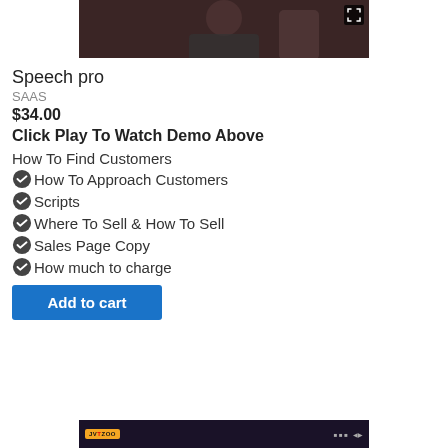[Figure (screenshot): Video thumbnail showing a person in a dark t-shirt with a fullscreen icon button in top-right corner]
Speech pro
SAAS
$34.00
Click Play To Watch Demo Above
How To Find Customers
How To Approach Customers
Scripts
Where To Sell & How To Sell
Sales Page Copy
How much to charge
Add to cart
[Figure (screenshot): Bottom video player bar with logo and controls on dark background]